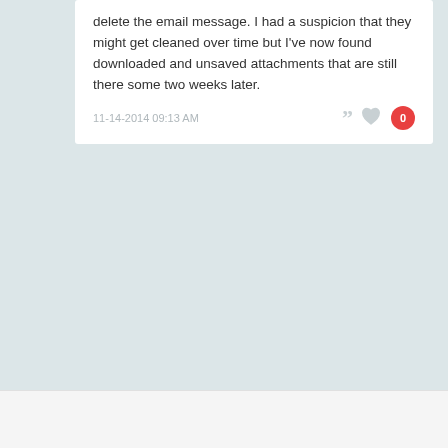delete the email message. I had a suspicion that they might get cleaned over time but I've now found downloaded and unsaved attachments that are still there some two weeks later.
11-14-2014 09:13 AM